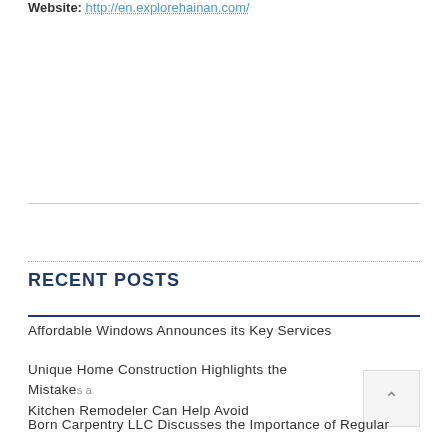Website: http://en.explorehainan.com/
RECENT POSTS
Affordable Windows Announces its Key Services
Unique Home Construction Highlights the Mistakes a Kitchen Remodeler Can Help Avoid
Born Carpentry LLC Discusses the Importance of Regular